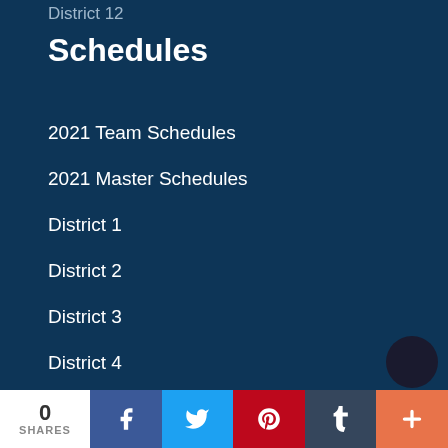District 12
Schedules
2021 Team Schedules
2021 Master Schedules
District 1
District 2
District 3
District 4
District 5
District 6
0 SHARES  [Facebook] [Twitter] [Pinterest] [Tumblr] [+]